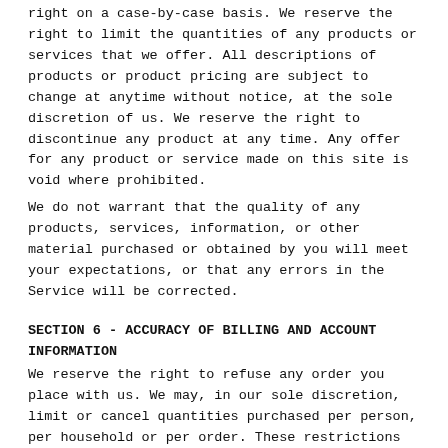right on a case-by-case basis. We reserve the right to limit the quantities of any products or services that we offer. All descriptions of products or product pricing are subject to change at anytime without notice, at the sole discretion of us. We reserve the right to discontinue any product at any time. Any offer for any product or service made on this site is void where prohibited.
We do not warrant that the quality of any products, services, information, or other material purchased or obtained by you will meet your expectations, or that any errors in the Service will be corrected.
SECTION 6 - ACCURACY OF BILLING AND ACCOUNT INFORMATION
We reserve the right to refuse any order you place with us. We may, in our sole discretion, limit or cancel quantities purchased per person, per household or per order. These restrictions may include orders placed by or under the same customer account, the same credit card, and/or orders that use the same billing and/or shipping address. In the event that we make a change to or cancel an order, we may attempt to notify you by contacting the e-mail and/or billing address/phone number provided at the time the order was made. We reserve the